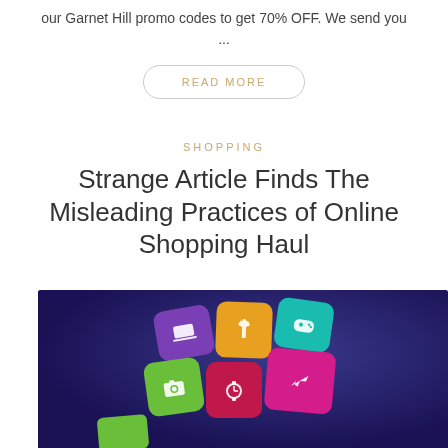our Garnet Hill promo codes to get 70% OFF. We send you ...
READ MORE
SHOPPING
Strange Article Finds The Misleading Practices of Online Shopping Haul
[Figure (photo): Colorful shopping app icons (laptop, shirt, gamepad, camera, watch, plane) on a dark blue/purple dotted background]